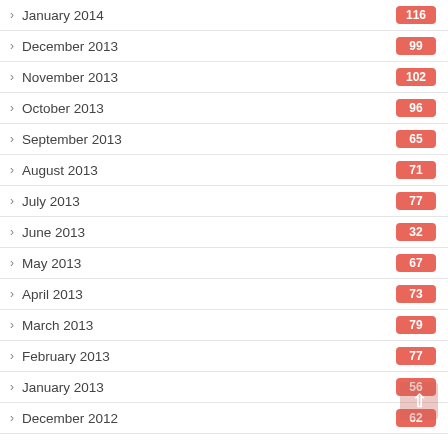January 2014 116
December 2013 99
November 2013 102
October 2013 96
September 2013 65
August 2013 71
July 2013 77
June 2013 32
May 2013 67
April 2013 73
March 2013 79
February 2013 77
January 2013 56
December 2012 62